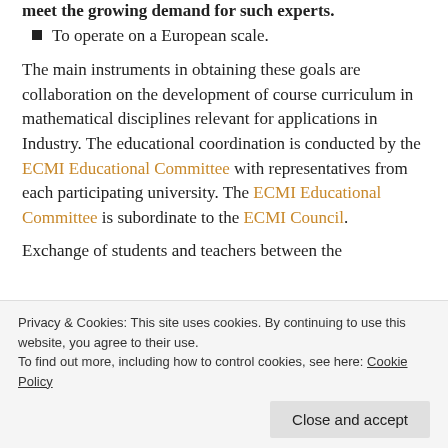meet the growing demand for such experts.
To operate on a European scale.
The main instruments in obtaining these goals are collaboration on the development of course curriculum in mathematical disciplines relevant for applications in Industry. The educational coordination is conducted by the ECMI Educational Committee with representatives from each participating university. The ECMI Educational Committee is subordinate to the ECMI Council.
Exchange of students and teachers between the
Privacy & Cookies: This site uses cookies. By continuing to use this website, you agree to their use. To find out more, including how to control cookies, see here: Cookie Policy